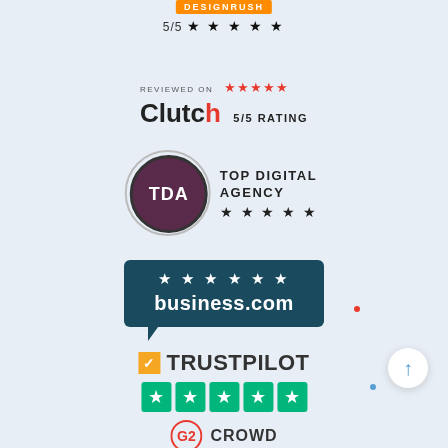[Figure (logo): Top rating logo with 5/5 stars rating at the top of the page]
[Figure (logo): Clutch review badge: REVIEWED ON with 5 red stars, Clutch logo, 5/5 RATING text]
[Figure (logo): Top Digital Agency (TDA) badge with circular logo and 5 stars]
[Figure (logo): business.com badge with 5 stars in dark teal speech bubble shape]
[Figure (logo): Trustpilot logo with 5 green star rating boxes]
[Figure (logo): G2 Crowd logo at the bottom of the page]